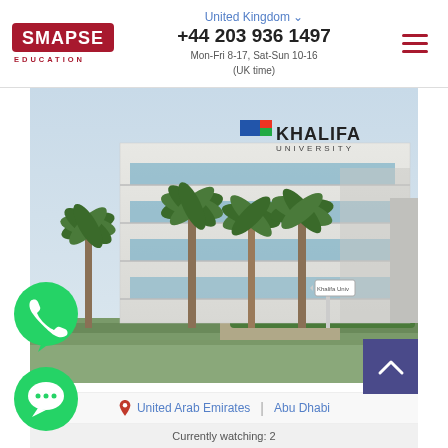United Kingdom | +44 203 936 1497 | Mon-Fri 8-17, Sat-Sun 10-16 (UK time)
[Figure (photo): Khalifa University building exterior with palm trees in foreground, modern white multi-storey building with blue horizontal window bands and Khalifa University logo on facade, Abu Dhabi, UAE]
United Arab Emirates | Abu Dhabi
Currently watching: 2